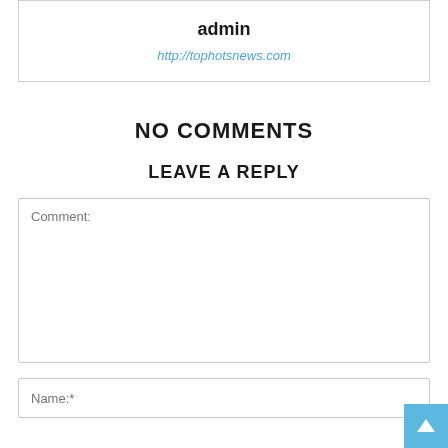admin
http://tophotsnews.com
NO COMMENTS
LEAVE A REPLY
Comment:
Name:*